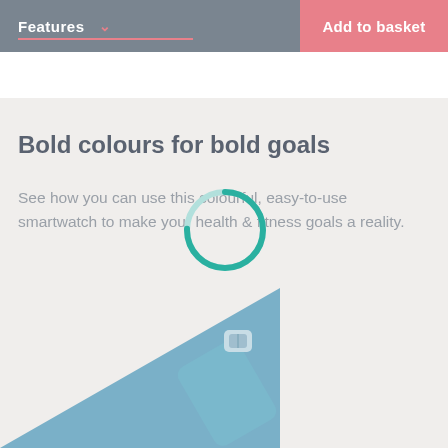Features   Add to basket
Reasons you'll love Versa Lite
Bold colours for bold goals
See how you can use this colourful, easy-to-use smartwatch to make your health & fitness goals a reality.
[Figure (photo): Light blue Fitbit Versa Lite smartwatch strap shown at the bottom of the image against a light beige background with a blue diagonal section.]